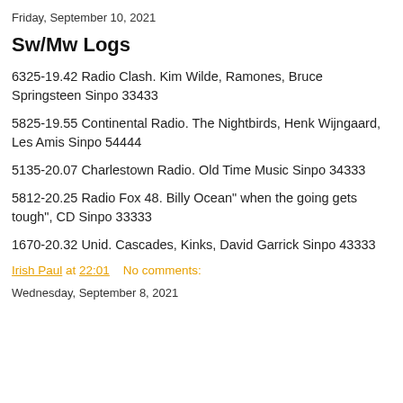Friday, September 10, 2021
Sw/Mw Logs
6325-19.42 Radio Clash. Kim Wilde, Ramones, Bruce Springsteen Sinpo 33433
5825-19.55 Continental Radio. The Nightbirds, Henk Wijngaard, Les Amis Sinpo 54444
5135-20.07 Charlestown Radio. Old Time Music Sinpo 34333
5812-20.25 Radio Fox 48. Billy Ocean" when the going gets tough", CD Sinpo 33333
1670-20.32 Unid. Cascades, Kinks, David Garrick Sinpo 43333
Irish Paul at 22:01    No comments:
Wednesday, September 8, 2021